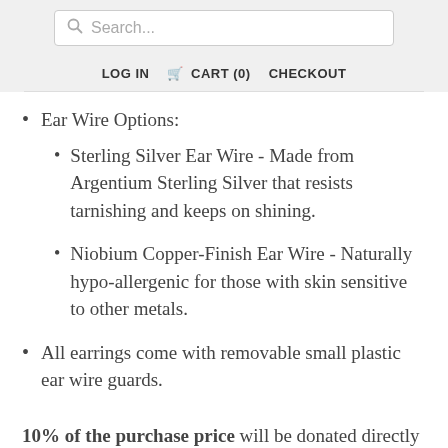Search... LOG IN  CART (0)  CHECKOUT
Ear Wire Options:
Sterling Silver Ear Wire - Made from Argentium Sterling Silver that resists tarnishing and keeps on shining.
Niobium Copper-Finish Ear Wire - Naturally hypo-allergenic for those with skin sensitive to other metals.
All earrings come with removable small plastic ear wire guards.
10% of the purchase price will be donated directly to IllumiNative, a